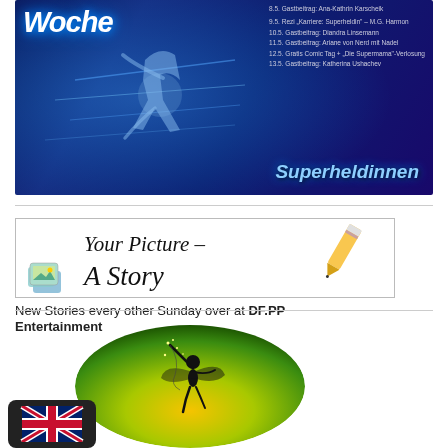[Figure (illustration): Blue promotional banner in German for 'Superheldinnen Woche' (Superheroines Week) with a running figure and event schedule listing dates 8.5 through 13.5 with guest contributors. Text includes 'Woche', 'Superheldinnen', and event details.]
[Figure (illustration): Decorative banner image with cursive handwritten text 'Your Picture – A Story' with a pencil illustration in top right and photo stack icon in bottom left on a white bordered background.]
New Stories every other Sunday over at DF.PP Entertainment
[Figure (illustration): Circular green-to-yellow gradient background with silhouette of a fairy/pixie figure raising one arm with stars around her.]
[Figure (illustration): UK flag icon in a dark rounded rectangle badge in the bottom left corner.]